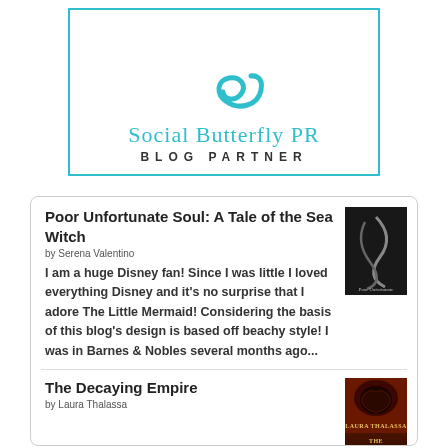[Figure (logo): Social Butterfly PR Blog Partner logo — teal cursive text and teal border box with teal swirl graphic]
Poor Unfortunate Soul: A Tale of the Sea Witch
by Serena Valentino
I am a huge Disney fan! Since I was little I loved everything Disney and it's no surprise that I adore The Little Mermaid! Considering the basis of this blog's design is based off beachy style! I was in Barnes & Nobles several months ago...
The Decaying Empire
by Laura Thalassa
The Vanishing Girl